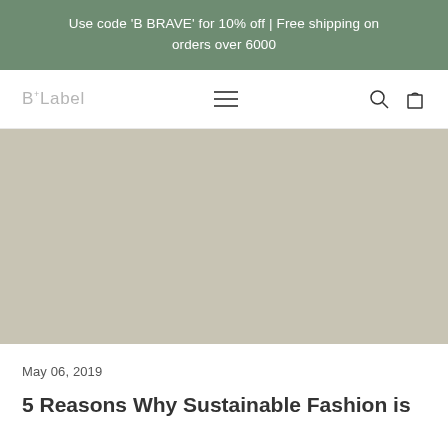Use code 'B BRAVE' for 10% off | Free shipping on orders over 6000
[Figure (logo): B+Label brand logo in light gray text with superscript plus sign]
[Figure (photo): Large hero image with muted beige/tan background, placeholder or styled hero image for blog post]
May 06, 2019
5 Reasons Why Sustainable Fashion is...